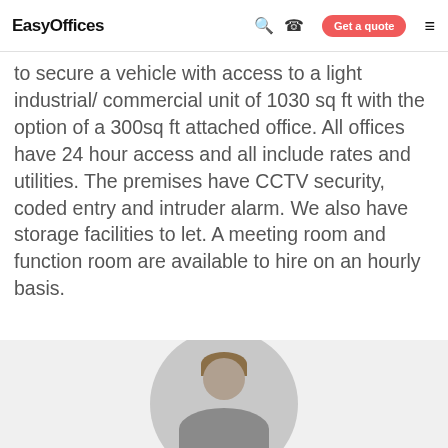EasyOffices — Get a quote
to secure a vehicle with access to a light industrial/ commercial unit of 1030 sq ft with the option of a 300sq ft attached office. All offices have 24 hour access and all include rates and utilities. The premises have CCTV security, coded entry and intruder alarm. We also have storage facilities to let. A meeting room and function room are available to hire on an hourly basis.
[Figure (photo): Circular portrait photo of a person at the bottom of the page, partially visible, on a light grey background.]